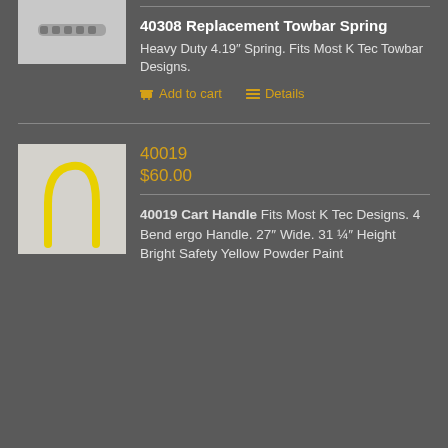[Figure (photo): Product image of a spring or metal component, partially visible at top]
40308 Replacement Towbar Spring
Heavy Duty 4.19″ Spring. Fits Most K Tec Towbar Designs.
Add to cart   Details
[Figure (photo): Yellow metal cart handle, U-shaped with 4 bends, standing upright on a white background]
40019
$60.00
40019 Cart Handle Fits Most K Tec Designs. 4 Bend ergo Handle. 27″ Wide. 31 ¼″ Height Bright Safety Yellow Powder Paint